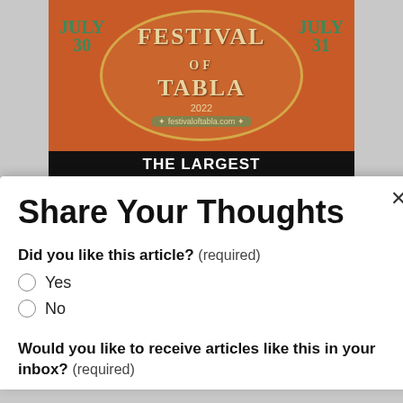[Figure (illustration): Festival of Tabla 2022 poster with orange/red and green design showing 'FESTIVAL OF TABLA 2022' in an oval, July 30-31 dates on sides, and festivaloftabla.com website. Below is a black band with text 'THE LARGEST INDIAN CLASSICAL']
Share Your Thoughts
Did you like this article? (required)
Yes
No
Would you like to receive articles like this in your inbox? (required)